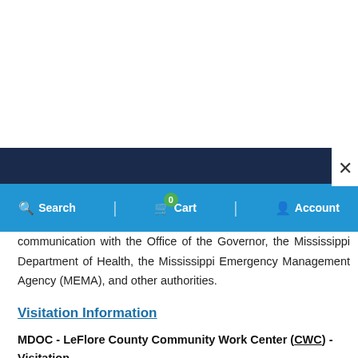× Search | 0 Cart | Account
communication with the Office of the Governor, the Mississippi Department of Health, the Mississippi Emergency Management Agency (MEMA), and other authorities.
Visitation Information
MDOC - LeFlore County Community Work Center (CWC) - Visitation